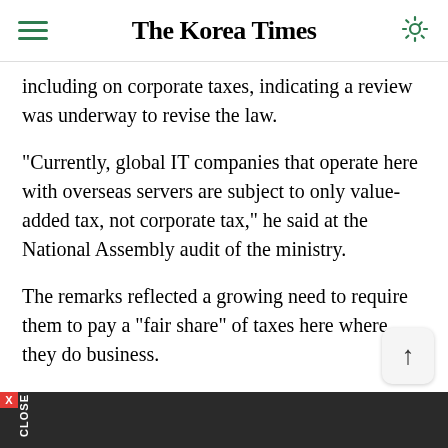The Korea Times
including on corporate taxes, indicating a review was underway to revise the law.
"Currently, global IT companies that operate here with overseas servers are subject to only value-added tax, not corporate tax," he said at the National Assembly audit of the ministry.
The remarks reflected a growing need to require them to pay a "fair share" of taxes here where they do business.
However, concerns over fairness arose as Korea's global firms doing business overseas could be subject